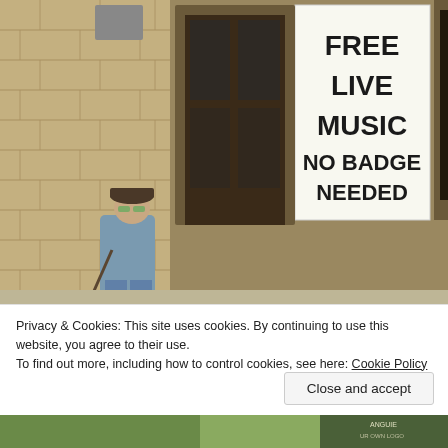[Figure (photo): Street scene outside a music venue. A sign reads 'FREE LIVE MUSIC NO BADGE NEEDED'. An elderly man with a cane, wearing a cap and green-tinted glasses, walks past. Through the window, drums and musical instruments are visible.]
Privacy & Cookies: This site uses cookies. By continuing to use this website, you agree to their use.
To find out more, including how to control cookies, see here: Cookie Policy
Close and accept
[Figure (photo): Partial view of a market stall or display with colorful items.]